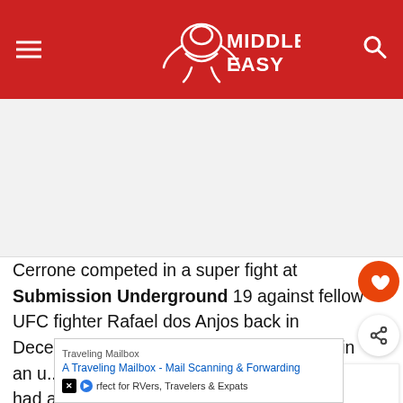MIDDLE EASY
[Figure (illustration): Advertisement placeholder image area, white/light grey rectangle]
Cerrone competed in a super fight at Submission Underground 19 against fellow UFC fighter Rafael dos Anjos back in December, coming away with the win twice in an unusual ruling from promotion officials. Cerrone had appeared to submit dos Anjos in overtime, with do...armbar.
[Figure (other): Ray Cooper III Revenges... - What's Next widget with thumbnail]
[Figure (other): Bottom advertisement banner: Traveling Mailbox - A Traveling Mailbox - Mail Scanning & Forwarding, Perfect for RVers, Travelers & Expats]